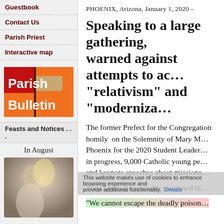Guestbook
Contact Us
Parish Priest
Interactive map
[Figure (illustration): Parish Bulletin logo with red and orange background and white text]
Feasts and Notices . . .
In August
[Figure (illustration): Blurred image of a saint holding a monstrance]
PHOENIX, Arizona, January 1, 2020 –
Speaking to a large gathering, warned against attempts to ac… “relativism” and “moderniza…
The former Prefect for the Congregation homily on the Solemnity of Mary M… Phoenix for the 2020 Student Leader… in progress, 9,000 Catholic young pe… and keynote speeches about missiona…
The Cardinal repeatedly cautioned th…
“We cannot escape the deadly poison…